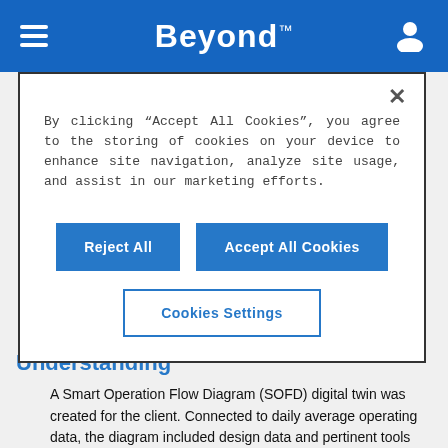Beyond™
By clicking "Accept All Cookies", you agree to the storing of cookies on your device to enhance site navigation, analyze site usage, and assist in our marketing efforts.
Reject All
Accept All Cookies
Cookies Settings
Understanding
A Smart Operation Flow Diagram (SOFD) digital twin was created for the client. Connected to daily average operating data, the diagram included design data and pertinent tools from our DPPI Digital Tool Box (DTB) including: